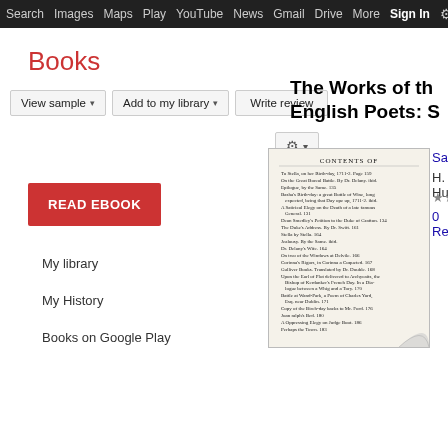Search  Images  Maps  Play  YouTube  News  Gmail  Drive  More  Sign In  ⚙
Books
View sample ▾   Add to my library ▾   Write review
READ EBOOK
My library
My History
Books on Google Play
The Works of the English Poets: S
[Figure (photo): Scanned book page showing 'Contents of' table of contents listing various poems and page numbers]
Samu
H. Hu
★★
0 Rev